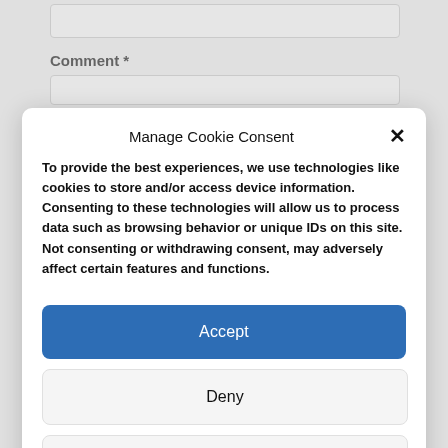Comment *
Manage Cookie Consent
To provide the best experiences, we use technologies like cookies to store and/or access device information. Consenting to these technologies will allow us to process data such as browsing behavior or unique IDs on this site. Not consenting or withdrawing consent, may adversely affect certain features and functions.
Accept
Deny
View preferences
Privacy Policy